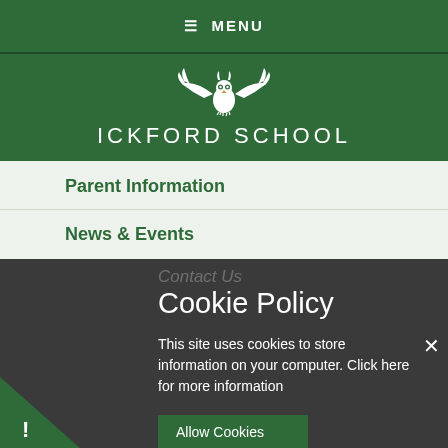≡ MENU
[Figure (logo): Ickford School owl logo with spread wings, white on green background]
ICKFORD SCHOOL
Parent Information
News & Events
Contact Us
Cookie Policy
This site uses cookies to store information on your computer. Click here for more information
Allow Cookies
Deny Cookies